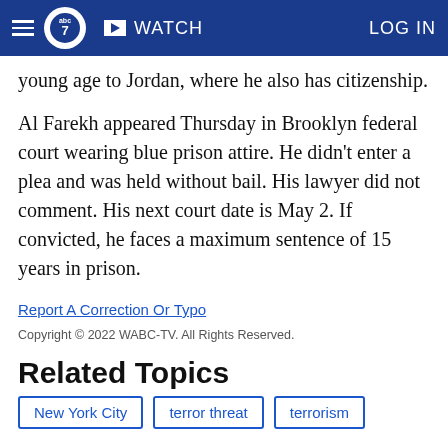abc7 WATCH LOG IN
young age to Jordan, where he also has citizenship.
Al Farekh appeared Thursday in Brooklyn federal court wearing blue prison attire. He didn't enter a plea and was held without bail. His lawyer did not comment. His next court date is May 2. If convicted, he faces a maximum sentence of 15 years in prison.
Report A Correction Or Typo
Copyright © 2022 WABC-TV. All Rights Reserved.
Related Topics
New York City
terror threat
terrorism